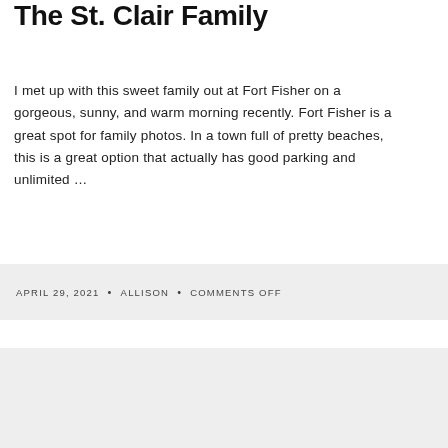The St. Clair Family
I met up with this sweet family out at Fort Fisher on a gorgeous, sunny, and warm morning recently. Fort Fisher is a great spot for family photos. In a town full of pretty beaches, this is a great option that actually has good parking and unlimited …
APRIL 29, 2021 • ALLISON • COMMENTS OFF
[Figure (photo): Light gray placeholder block for a second blog post card]